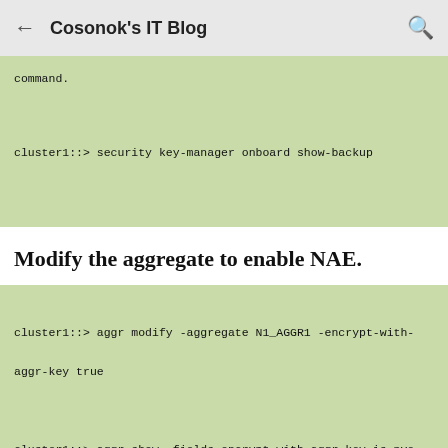Cosonok's IT Blog
command.

cluster1::> security key-manager onboard show-backup
Modify the aggregate to enable NAE.
cluster1::> aggr modify -aggregate N1_AGGR1 -encrypt-with-aggr-key true

cluster1::> aggr show -fields encrypt-with-aggr-key is-nve